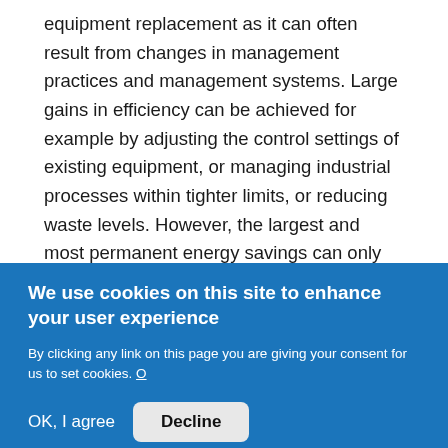equipment replacement as it can often result from changes in management practices and management systems. Large gains in efficiency can be achieved for example by adjusting the control settings of existing equipment, or managing industrial processes within tighter limits, or reducing waste levels. However, the largest and most permanent energy savings can only be delivered through investment into more efficient equipment and processes.
Efficiency, and the economics of efficiency, cannot be assessed without reference to a
We use cookies on this site to enhance your user experience
By clicking any link on this page you are giving your consent for us to set cookies. O
OK, I agree   Decline